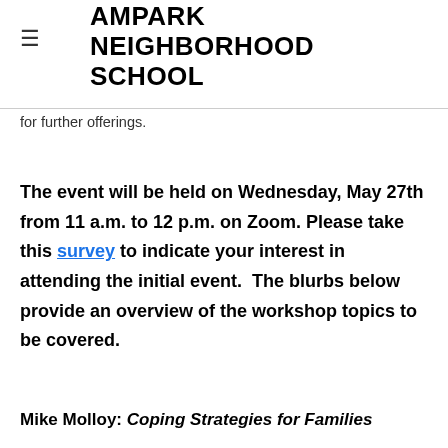AMPARK NEIGHBORHOOD SCHOOL
for further offerings.
The event will be held on Wednesday, May 27th from 11 a.m. to 12 p.m. on Zoom. Please take this survey to indicate your interest in attending the initial event. The blurbs below provide an overview of the workshop topics to be covered.
Mike Molloy: Coping Strategies for Families